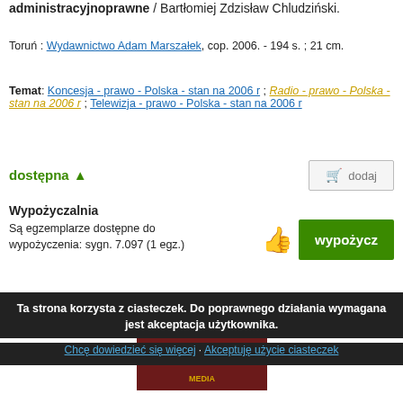administracyjnoprawne / Bartłomiej Zdzisław Chludziński.
Toruń : Wydawnictwo Adam Marszałek, cop. 2006. - 194 s. ; 21 cm.
Temat: Koncesja - prawo - Polska - stan na 2006 r ; Radio - prawo - Polska - stan na 2006 r ; Telewizja - prawo - Polska - stan na 2006 r
dostępna ▲
dodaj
Wypożyczalnia
Są egzemplarze dostępne do wypożyczenia: sygn. 7.097 (1 egz.)
wypożycz
[Figure (photo): Book cover with dark red/maroon background, featuring a golden leaf logo, text 'Wyższa Szkoła Dziennikarska im. Melchiora Wańkowicza w Warszawie', 'ZESZYTY NAUKOWE', and 'MEDIA' at the bottom]
Ta strona korzysta z ciasteczek. Do poprawnego działania wymagana jest akceptacja użytkownika.
Chcę dowiedzieć się więcej · Akceptuję użycie ciasteczek